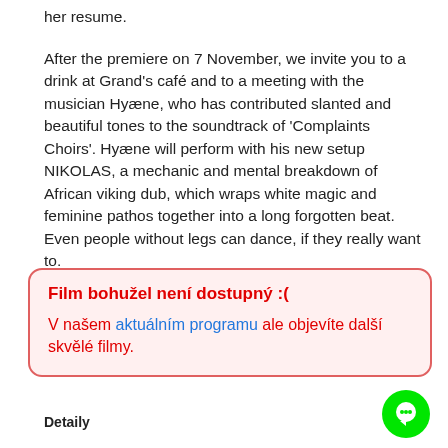her resume.
After the premiere on 7 November, we invite you to a drink at Grand's café and to a meeting with the musician Hyæne, who has contributed slanted and beautiful tones to the soundtrack of 'Complaints Choirs'. Hyæne will perform with his new setup NIKOLAS, a mechanic and mental breakdown of African viking dub, which wraps white magic and feminine pathos together into a long forgotten beat. Even people without legs can dance, if they really want to.
Film bohužel není dostupný :(
V našem aktuálním programu ale objevíte další skvělé filmy.
Detaily